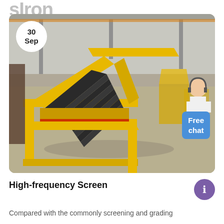sIron
[Figure (photo): Yellow high-frequency screen/vibrating screen machine in an industrial warehouse. The machine has a yellow steel frame with black screening panels arranged at an angle. A date badge showing '30 Sep' is overlaid top-left. A 'Free chat' blue button and a customer service representative avatar appear on the right side of the image.]
High-frequency Screen
Compared with the commonly screening and grading